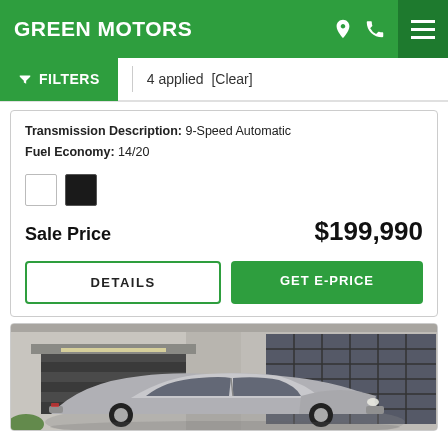GREEN MOTORS
4 applied  [Clear]
Transmission Description: 9-Speed Automatic
Fuel Economy: 14/20
Sale Price   $199,990
DETAILS
GET E-PRICE
[Figure (photo): A silver/grey car parked in front of a building with large garage doors, viewed from a slight angle. The building has dark large windows and a multi-story facade.]